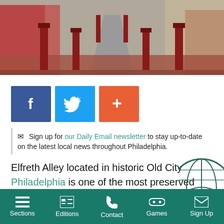[Figure (photo): Street-level photo looking down Elfreth's Alley in Philadelphia, showing red bollards on either side, brick pavement, and a cobblestone center path.]
[Figure (infographic): Three social media share buttons: Facebook (blue with f), Twitter (light blue with bird icon), and AddThis (orange with + icon).]
Sign up for our Daily Email newsletter to stay up-to-date on the latest local news throughout Philadelphia.
Elfreth Alley located in historic Old City Philadelphia is one of the most preserved areas in the city. The alley dates back to 1720, and when you walk down the tucked away walkway between the Delaware River and Second Street you truly feel as though you have stepped back in time. There are 32 Georgian and Federal residences standing as reminders of the early days in Phi...
Sections | Editions | Contact | Games | Sign Up